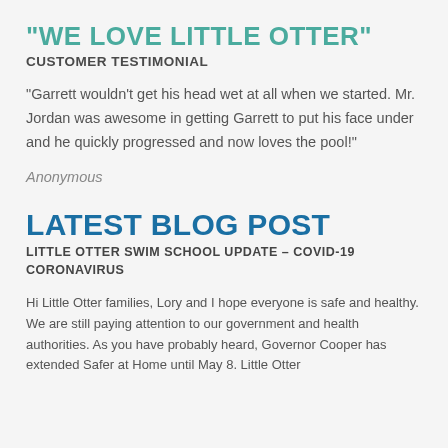“WE LOVE LITTLE OTTER”
CUSTOMER TESTIMONIAL
“Garrett wouldn’t get his head wet at all when we started. Mr. Jordan was awesome in getting Garrett to put his face under and he quickly progressed and now loves the pool!”
Anonymous
LATEST BLOG POST
LITTLE OTTER SWIM SCHOOL UPDATE – COVID-19 CORONAVIRUS
Hi Little Otter families, Lory and I hope everyone is safe and healthy. We are still paying attention to our government and health authorities. As you have probably heard, Governor Cooper has extended Safer at Home until May 8. Little Otter